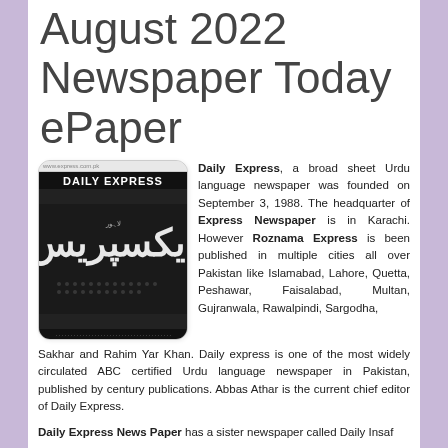August 2022 Newspaper Today ePaper
[Figure (photo): Daily Express Urdu newspaper front page image, showing masthead 'DAILY EXPRESS' in white on black background with Urdu text below]
Daily Express, a broad sheet Urdu language newspaper was founded on September 3, 1988. The headquarter of Express Newspaper is in Karachi. However Roznama Express is been published in multiple cities all over Pakistan like Islamabad, Lahore, Quetta, Peshawar, Faisalabad, Multan, Gujranwala, Rawalpindi, Sargodha, Sakhar and Rahim Yar Khan. Daily express is one of the most widely circulated ABC certified Urdu language newspaper in Pakistan, published by century publications. Abbas Athar is the current chief editor of Daily Express.
Daily Express News Paper has a sister newspaper called Daily Insaf